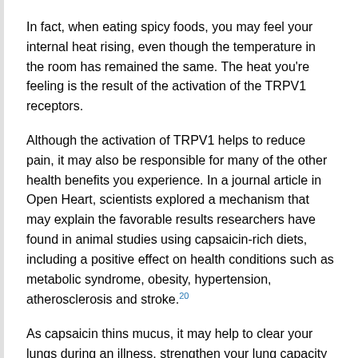In fact, when eating spicy foods, you may feel your internal heat rising, even though the temperature in the room has remained the same. The heat you're feeling is the result of the activation of the TRPV1 receptors.
Although the activation of TRPV1 helps to reduce pain, it may also be responsible for many of the other health benefits you experience. In a journal article in Open Heart, scientists explored a mechanism that may explain the favorable results researchers have found in animal studies using capsaicin-rich diets, including a positive effect on health conditions such as metabolic syndrome, obesity, hypertension, atherosclerosis and stroke.[20]
As capsaicin thins mucus, it may help to clear your lungs during an illness, strengthen your lung capacity and may help prevent or treat emphysema.[21] Various studies also demonstrate that capsaicin may effectively help your body fight prostate cancer.[22] Animal studies have found oral supplementation is effective against H. pylori, the bacteria that triggers gastritis and ulcerations of the stomach wall. Capsaicin has also demonstrated some effectiveness against breast cancer, lymphoma and some lung tumors.